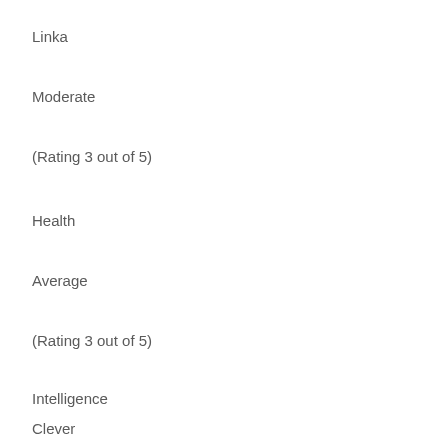Linka
Moderate
(Rating 3 out of 5)
Health
Average
(Rating 3 out of 5)
Intelligence
Clever